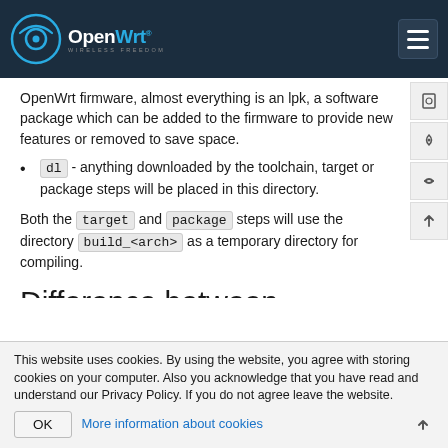OpenWrt
OpenWrt firmware, almost everything is an lpk, a software package which can be added to the firmware to provide new features or removed to save space.
dl - anything downloaded by the toolchain, target or package steps will be placed in this directory.
Both the target and package steps will use the directory build_<arch> as a temporary directory for compiling.
Difference between build_dir and staging_dir
This website uses cookies. By using the website, you agree with storing cookies on your computer. Also you acknowledge that you have read and understand our Privacy Policy. If you do not agree leave the website.